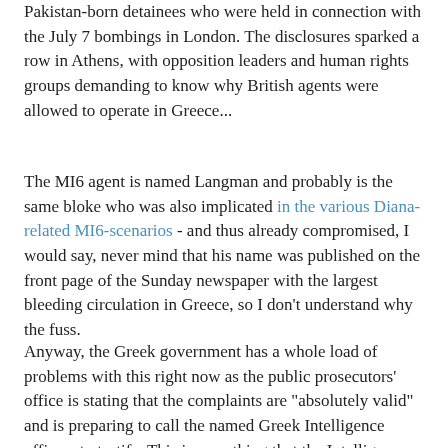Pakistan-born detainees who were held in connection with the July 7 bombings in London. The disclosures sparked a row in Athens, with opposition leaders and human rights groups demanding to know why British agents were allowed to operate in Greece...
The MI6 agent is named Langman and probably is the same bloke who was also implicated in the various Diana-related MI6-scenarios - and thus already compromised, I would say, never mind that his name was published on the front page of the Sunday newspaper with the largest bleeding circulation in Greece, so I don't understand why the fuss.
Anyway, the Greek government has a whole load of problems with this right now as the public prosecutors' office is stating that the complaints are "absolutely valid" and is preparing to call the named Greek Intelligence officers to testify. This is something that the Intelligence Service (EYP) has already stated that it will not allow its employees to do, on grounds of "national interest". The lawyer of the abducted